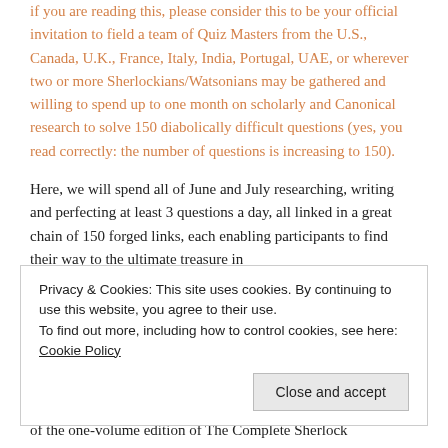if you are reading this, please consider this to be your official invitation to field a team of Quiz Masters from the U.S., Canada, U.K., France, Italy, India, Portugal, UAE, or wherever two or more Sherlockians/Watsonians may be gathered and willing to spend up to one month on scholarly and Canonical research to solve 150 diabolically difficult questions (yes, you read correctly: the number of questions is increasing to 150).
Here, we will spend all of June and July researching, writing and perfecting at least 3 questions a day, all linked in a great chain of 150 forged links, each enabling participants to find their way to the ultimate treasure in
Privacy & Cookies: This site uses cookies. By continuing to use this website, you agree to their use.
To find out more, including how to control cookies, see here: Cookie Policy
of the one-volume edition of The Complete Sherlock